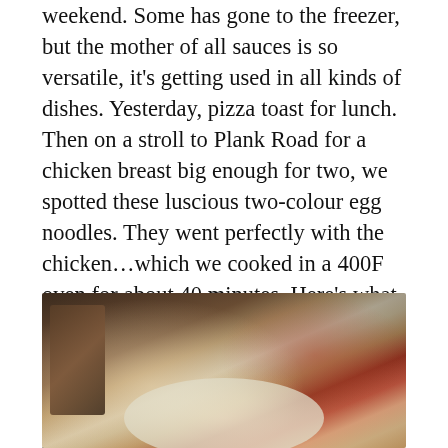weekend. Some has gone to the freezer, but the mother of all sauces is so versatile, it's getting used in all kinds of dishes. Yesterday, pizza toast for lunch. Then on a stroll to Plank Road for a chicken breast big enough for two, we spotted these luscious two-colour egg noodles. They went perfectly with the chicken...which we cooked in a 400F oven for about 40 minutes. Here's what was in the pot: 1 boneless, skinless chicken breast, 1 carrot and one yellow bell pepper, diced. Five large white mushrooms, quartered. 1 cup/250ml of marinara. Cover and bake.
[Figure (photo): A photograph showing a bowl or plate of food, appearing to contain noodles and chicken with sauce, in a dark/warm-toned setting.]